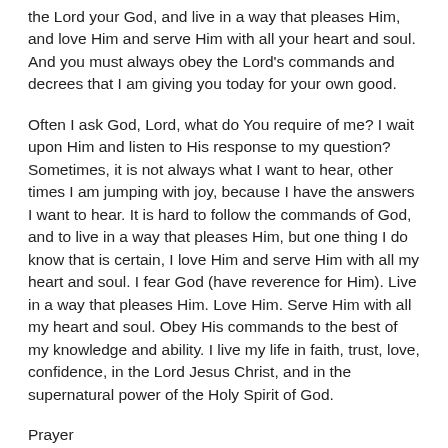the Lord your God, and live in a way that pleases Him, and love Him and serve Him with all your heart and soul. And you must always obey the Lord's commands and decrees that I am giving you today for your own good.
Often I ask God, Lord, what do You require of me? I wait upon Him and listen to His response to my question? Sometimes, it is not always what I want to hear, other times I am jumping with joy, because I have the answers I want to hear. It is hard to follow the commands of God, and to live in a way that pleases Him, but one thing I do know that is certain, I love Him and serve Him with all my heart and soul. I fear God (have reverence for Him). Live in a way that pleases Him. Love Him. Serve Him with all my heart and soul. Obey His commands to the best of my knowledge and ability. I live my life in faith, trust, love, confidence, in the Lord Jesus Christ, and in the supernatural power of the Holy Spirit of God.
Prayer
Gracious God, You require me to fear the Lord my God, and